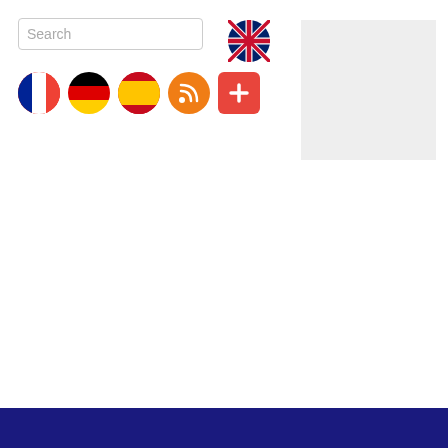[Figure (screenshot): Website header with search box, language flag icons (UK, France, Germany, Spain), RSS feed button, plus button, and a gray advertisement box area. A dark navy blue footer bar runs along the bottom.]